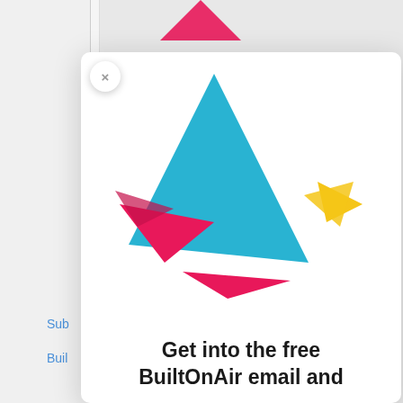[Figure (illustration): Partially visible pink arrow/chevron at top of page above modal]
[Figure (logo): BuiltOnAir origami bird logo made of geometric shapes: teal triangle body, pink wing and tail triangles, yellow/gold head and wing triangles]
Get into the free BuiltOnAir email and
Sub
Buil
Airt
Airt
Abo
Con